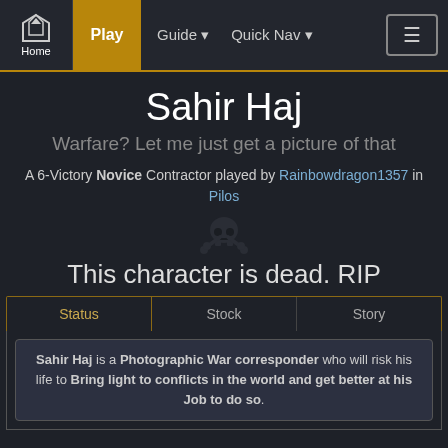Home | Play | Guide | Quick Nav | ☰
Sahir Haj
Warfare? Let me just get a picture of that
A 6-Victory Novice Contractor played by Rainbowdragon1357 in Pilos
[Figure (illustration): Skull and crossbones death icon]
This character is dead. RIP
Status | Stock | Story (tabs)
Sahir Haj is a Photographic War corresponder who will risk his life to Bring light to conflicts in the world and get better at his Job to do so.